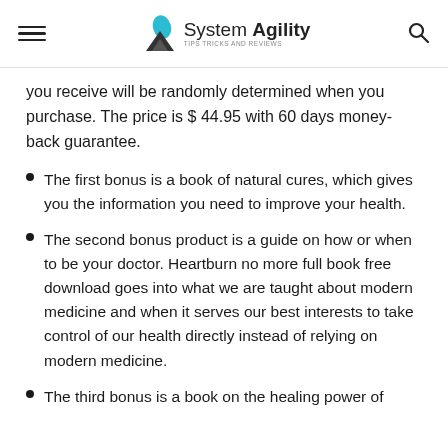System Agility
you receive will be randomly determined when you purchase. The price is $ 44.95 with 60 days money-back guarantee.
The first bonus is a book of natural cures, which gives you the information you need to improve your health.
The second bonus product is a guide on how or when to be your doctor. Heartburn no more full book free download goes into what we are taught about modern medicine and when it serves our best interests to take control of our health directly instead of relying on modern medicine.
The third bonus is a book on the healing power of